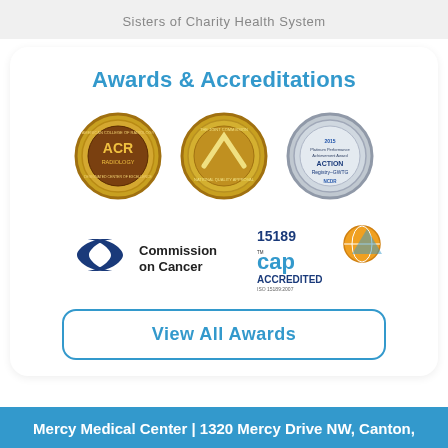Sisters of Charity Health System
Awards & Accreditations
[Figure (logo): Three accreditation badges in a row: ACR Radiology (gold/brown medal), Joint Commission National Quality Approval (gold medal), and 2015 Platinum Performance Achievement Award ACTION Registry-GWTG NCDR (silver medal)]
[Figure (logo): Two accreditation logos: Commission on Cancer (dark blue double-arrow logo with text) and CAP 15189 Accredited ISO 15189:2007 (orange/blue logo)]
View All Awards
Mercy Medical Center | 1320 Mercy Drive NW, Canton,